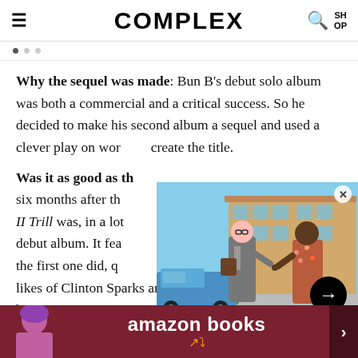COMPLEX
Why the sequel was made: Bun B's debut solo album was both a commercial and a critical success. So he decided to make his second album a sequel and used a clever play on words to create the title.
Was it as good as th... six months after th... II Trill was, in a lot... debut album. It fea... the first one did, q... likes of Clinton Sparks and Mouse, and a back-to- busi... to le... imp...
[Figure (photo): Two men standing on a street — one in a suit with glasses and bag, one in a floral shirt — pointing at each other. A blue vintage truck and apartment building in the background.]
Jamie Foxx Says HeSpecificallyWanted toStar Alongside DaveFranco in Netflix'...
[Figure (photo): Amazon Books advertisement banner showing a person on the left and the Amazon Books logo with arrow on a dark red background.]